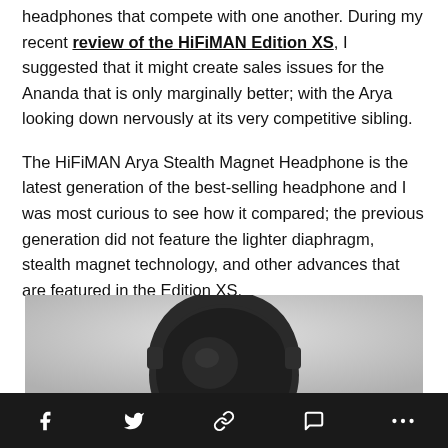headphones that compete with one another. During my recent review of the HiFiMAN Edition XS, I suggested that it might create sales issues for the Ananda that is only marginally better; with the Arya looking down nervously at its very competitive sibling.
The HiFiMAN Arya Stealth Magnet Headphone is the latest generation of the best-selling headphone and I was most curious to see how it compared; the previous generation did not feature the lighter diaphragm, stealth magnet technology, and other advances that are featured in the Edition XS.
[Figure (photo): Photo of HiFiMAN Arya headphones, a large black over-ear headphone shown from a top-front angle against a light grey background]
Social share bar with icons: Facebook, Twitter, Link, Comment, More (…)